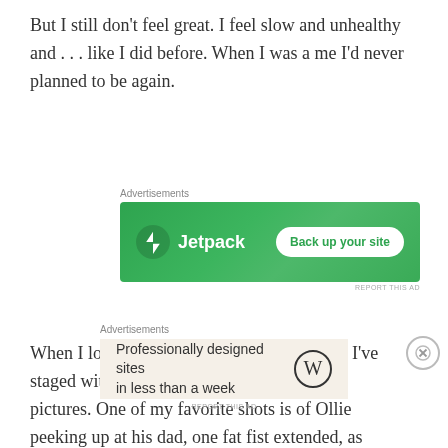But I still don’t feel great. I feel slow and unhealthy and . . . like I did before. When I was a me I’d never planned to be again.
[Figure (screenshot): Jetpack advertisement banner: green background with Jetpack logo and lightning bolt icon on the left, white rounded button reading 'Back up your site' on the right. Labeled 'Advertisements' above and 'REPORT THIS AD' below.]
When I look through the home photo shoots I’ve staged with Oliver, my husband is in many pictures. One of my favorite shots is of Ollie peeking up at his dad, one fat fist extended, as Spence looks on and smiles
[Figure (screenshot): WordPress advertisement banner on beige/cream background: text reads 'Professionally designed sites in less than a week' with WordPress logo on the right. Labeled 'Advertisements' above and 'REPORT THIS AD' below.]